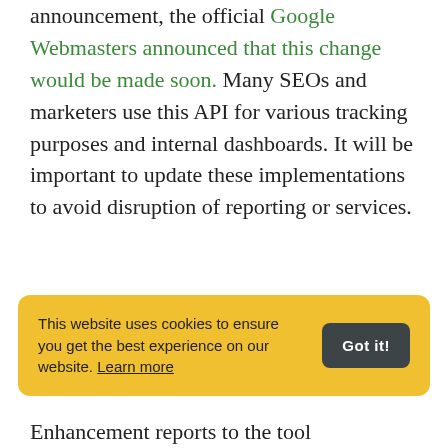announcement, the official Google Webmasters announced that this change would be made soon. Many SEOs and marketers use this API for various tracking purposes and internal dashboards. It will be important to update these implementations to avoid disruption of reporting or services.
SpecialAnnoucement Structured Data Reports
This website uses cookies to ensure you get the best experience on our website. Learn more
Enhancement reports to the tool